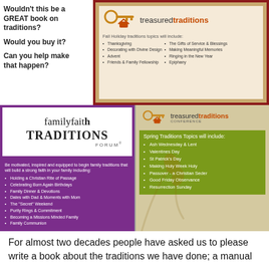Wouldn't this be a GREAT book on traditions?

Would you buy it?

Can you help make that happen?
[Figure (infographic): Treasured Traditions logo with key graphic and list of Fall Holiday traditions topics including Thanksgiving, Decorating with Divine Design, Advent, Friends & Family Fellowship, The Gifts of Service & Blessings, Making Meaningful Memories, Ringing in the New Year, Epiphany]
[Figure (logo): Family Faith Traditions Forum logo in purple and white]
Be motivated, inspired and equipped to begin family traditions that will build a strong faith in your family including:
Holding a Christian Rite of Passage
Celebrating Born Again Birthdays
Family Dinner & Devotions
Dates with Dad & Moments with Mom
The "Secret" Weekend
Purity Rings & Commitment
Becoming a Missions Minded Family
Family Communion
[Figure (infographic): Treasured Traditions Conference logo with key and arch graphic, Spring Traditions Topics including Ash Wednesday & Lent, Valentines Day, St Patrick's Day, Making Holy Week Holy, Passover - a Christian Seder, Good Friday Observance, Resurrection Sunday]
For almost two decades people have asked us to please write a book about the traditions we have done; a manual